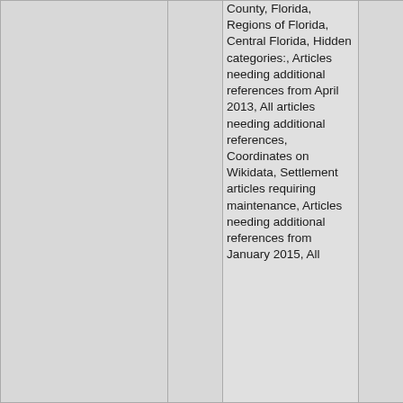|  |  | County, Florida, Regions of Florida, Central Florida, Hidden categories:, Articles needing additional references from April 2013, All articles needing additional references, Coordinates on Wikidata, Settlement articles requiring maintenance, Articles needing additional references from January 2015, All |  |